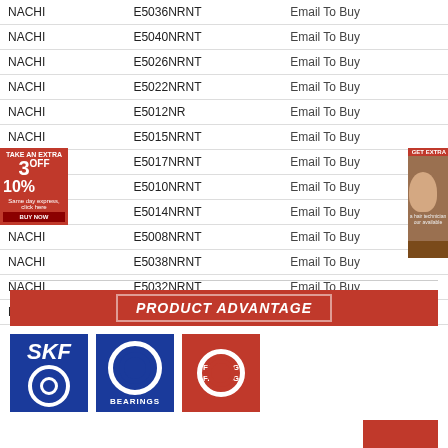| Brand | Model | Action |
| --- | --- | --- |
| NACHI | E5036NRNT | Email To Buy |
| NACHI | E5040NRNT | Email To Buy |
| NACHI | E5026NRNT | Email To Buy |
| NACHI | E5022NRNT | Email To Buy |
| NACHI | E5012NR | Email To Buy |
| NACHI | E5015NRNT | Email To Buy |
| NACHI | E5017NRNT | Email To Buy |
| NACHI | E5010NRNT | Email To Buy |
| NACHI | E5014NRNT | Email To Buy |
| NACHI | E5008NRNT | Email To Buy |
| NACHI | E5038NRNT | Email To Buy |
| NACHI | E5032NRNT | Email To Buy |
| NACHI | E5044NRNT | Email To Buy |
PRODUCT ADVANTAGE
[Figure (logo): Brand logos: SKF, NSK Bearings, FAG]